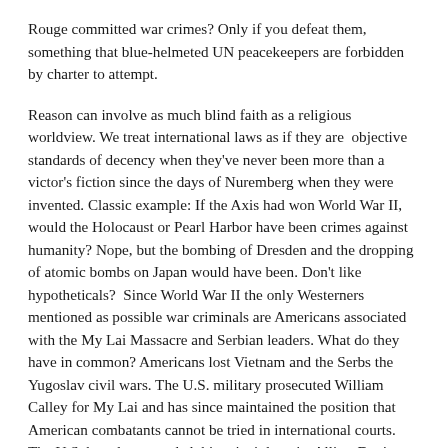Rouge committed war crimes? Only if you defeat them, something that blue-helmeted UN peacekeepers are forbidden by charter to attempt.
Reason can involve as much blind faith as a religious worldview. We treat international laws as if they are  objective standards of decency when they've never been more than a victor's fiction since the days of Nuremberg when they were invented. Classic example: If the Axis had won World War II, would the Holocaust or Pearl Harbor have been crimes against humanity? Nope, but the bombing of Dresden and the dropping of atomic bombs on Japan would have been. Don't like hypotheticals?  Since World War II the only Westerners mentioned as possible war criminals are Americans associated with the My Lai Massacre and Serbian leaders. What do they have in common? Americans lost Vietnam and the Serbs the Yugoslav civil wars. The U.S. military prosecuted William Calley for My Lai and has since maintained the position that American combatants cannot be tried in international courts. The U.S. has also extended this principle to its Allies. Don't hold your breath waiting for Benjamin Netanyahu to be tried as a war criminal. On the other hand, I'd not get too comfortable if I were Hamas leader Khaled Mashaal.